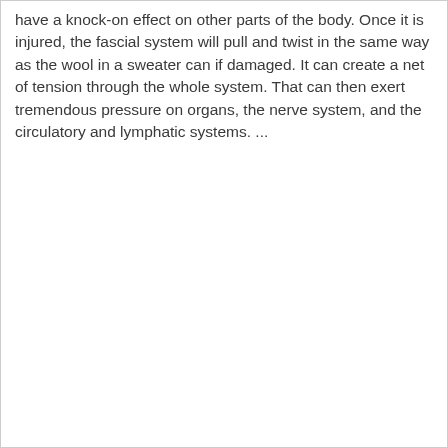have a knock-on effect on other parts of the body. Once it is injured, the fascial system will pull and twist in the same way as the wool in a sweater can if damaged. It can create a net of tension through the whole system. That can then exert tremendous pressure on organs, the nerve system, and the circulatory and lymphatic systems. ...